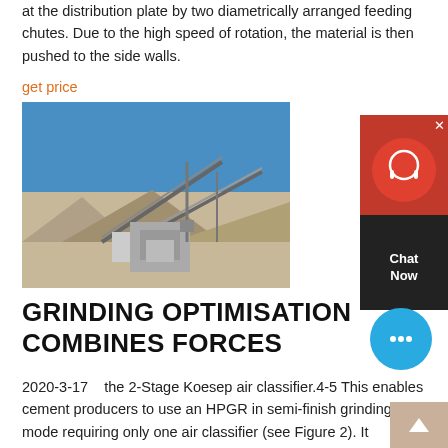at the distribution plate by two diametrically arranged feeding chutes. Due to the high speed of rotation, the material is then pushed to the side walls.
get price
[Figure (photo): Outdoor photo of an industrial crushing/grinding plant with conveyor belts, machinery, and gravel piles under a blue sky.]
GRINDING OPTIMISATION COMBINES FORCES
2020-3-17    the 2-Stage Koesep air classifier.4-5 This enables cement producers to use an HPGR in semi-finish grinding mode requiring only one air classifier (see Figure 2). It combines deagglomeration of the HPGR product, coarse separation in a static cascade classifier and fine separation in a high-efficiency